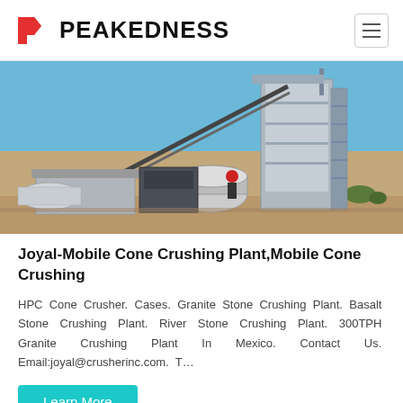PEAKEDNESS
[Figure (photo): Industrial mobile cone crushing plant with tall tower structure, conveyor belt, cylindrical drum, and worker in red helmet on a clear blue sky day in an arid landscape.]
Joyal-Mobile Cone Crushing Plant,Mobile Cone Crushing
HPC Cone Crusher. Cases. Granite Stone Crushing Plant. Basalt Stone Crushing Plant. River Stone Crushing Plant. 300TPH Granite Crushing Plant In Mexico. Contact Us. Email:joyal@crusherinc.com. T…